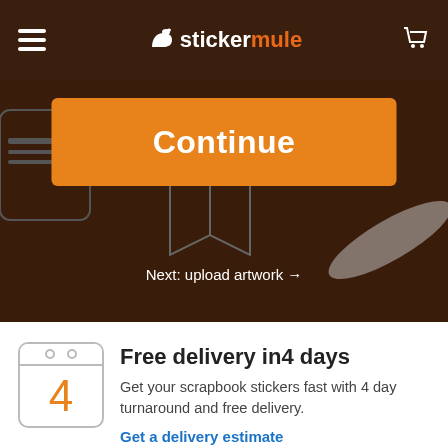stickermule
[Figure (screenshot): Hero background image showing decorative stickers on a dark brown background with icons including an open book and document stickers]
Continue
Next: upload artwork →
Free delivery in4 days
Get your scrapbook stickers fast with 4 day turnaround and free delivery.
Get a delivery estimate